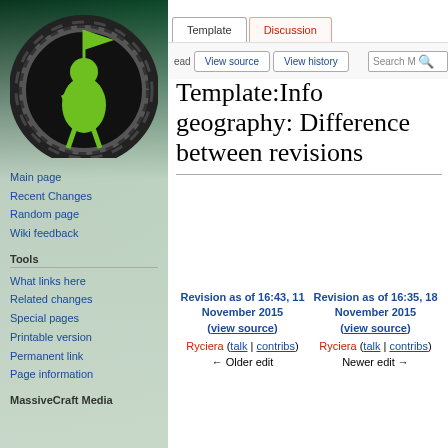[Figure (logo): MassiveCraft wiki logo: green figure holding flag on globe with gear-like border]
Main page
Recent Changes
Random page
Wiki feedback
Tools
What links here
Related changes
Special pages
Printable version
Permanent link
Page information
MassiveCraft Media
Log in
Template:Info geography: Difference between revisions
| Revision as of 16:43, 11 November 2015 (view source) | Revision as of 16:35, 18 November 2015 (view source) |
| --- | --- |
| Ryciera (talk | contribs) | Ryciera (talk | contribs) |
| ← Older edit | Newer edit → |